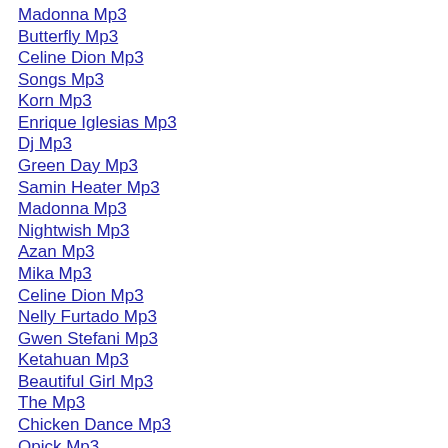Madonna Mp3
Butterfly Mp3
Celine Dion Mp3
Songs Mp3
Korn Mp3
Enrique Iglesias Mp3
Dj Mp3
Green Day Mp3
Samin Heater Mp3
Madonna Mp3
Nightwish Mp3
Azan Mp3
Mika Mp3
Celine Dion Mp3
Nelly Furtado Mp3
Gwen Stefani Mp3
Ketahuan Mp3
Beautiful Girl Mp3
The Mp3
Chicken Dance Mp3
Opick Mp3
Milana Mp3
Digimon Mp3
Crazy Mp3
Happy Birthday Mp3